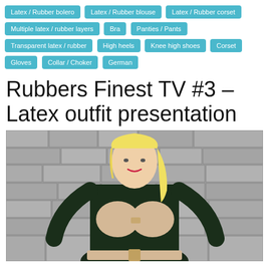Latex / Rubber bolero, Latex / Rubber blouse, Latex / Rubber corset, Multiple latex / rubber layers, Bra, Panties / Pants, Transparent latex / rubber, High heels, Knee high shoes, Corset, Gloves, Collar / Choker, German
Rubbers Finest TV #3 – Latex outfit presentation
[Figure (photo): A woman wearing a dark green/black latex outfit with a latex bra insert, standing in front of a stone wall background.]